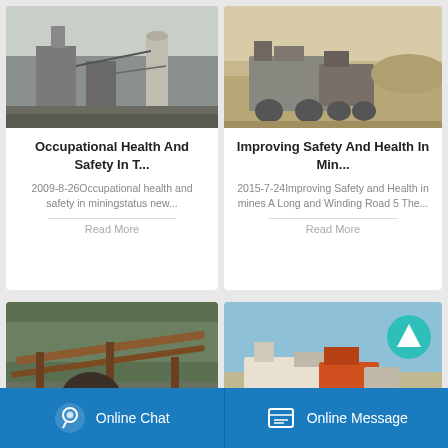[Figure (photo): Industrial mining facility with concrete structures and silos]
Occupational Health And Safety In T...
2009-8-26Occupational health and safety in miningstatus new...
Read More
[Figure (photo): Open-pit mining site with heavy machinery and crusher equipment in arid landscape]
Improving Safety And Health In Min...
2015-7-24Improving Safety and Health in mines A Long and Winding Road 5 The...
Read More
[Figure (photo): Rusty mining conveyor equipment in wooded area]
[Figure (photo): Mining crusher equipment in open field with navigation arrow overlay]
Online Chat
Online Message